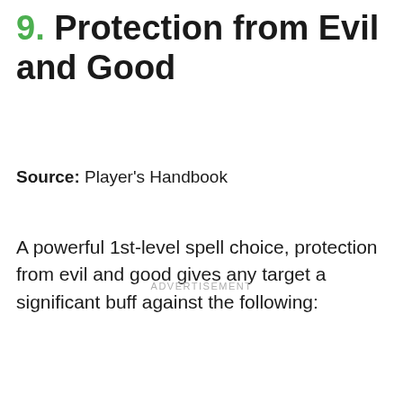9. Protection from Evil and Good
Source: Player's Handbook
A powerful 1st-level spell choice, protection from evil and good gives any target a significant buff against the following:
ADVERTISEMENT